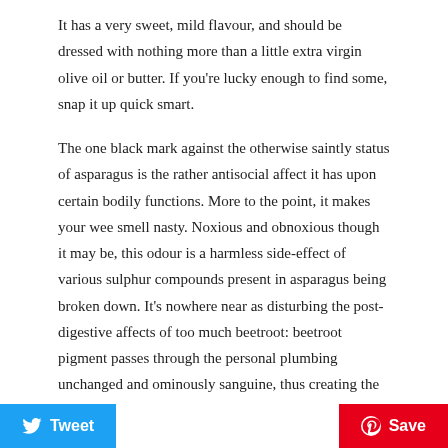It has a very sweet, mild flavour, and should be dressed with nothing more than a little extra virgin olive oil or butter. If you're lucky enough to find some, snap it up quick smart.
The one black mark against the otherwise saintly status of asparagus is the rather antisocial affect it has upon certain bodily functions. More to the point, it makes your wee smell nasty. Noxious and obnoxious though it may be, this odour is a harmless side-effect of various sulphur compounds present in asparagus being broken down. It's nowhere near as disturbing the post-digestive affects of too much beetroot: beetroot pigment passes through the personal plumbing unchanged and ominously sanguine, thus creating the alarming impression that you are haemorrhaging like a Romanov with a paper cut.
Asparagus crowns (dormant root clumps) are available from garden centre
Tweet  Save